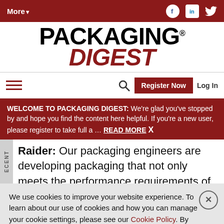More▼
PACKAGING DIGEST
Register Now  Log In
WELCOME TO PACKAGING DIGEST: We're glad you've stopped by and hope you find the content here helpful. If you're a new user, please register to take full a … READ MORE  X
Raider: Our packaging engineers are developing packaging that not only meets the performance requirements of the MATS process, but also those
We use cookies to improve your website experience. To learn about our use of cookies and how you can manage your cookie settings, please see our Cookie Policy. By continuing to use the website, you consent to our use of cookies.